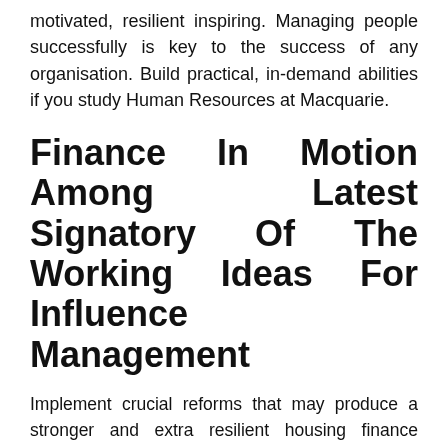motivated, resilient inspiring. Managing people successfully is key to the success of any organisation. Build practical, in-demand abilities if you study Human Resources at Macquarie.
Finance In Motion Among Latest Signatory Of The Working Ideas For Influence Management
Implement crucial reforms that may produce a stronger and extra resilient housing finance system. This annual report describes FHFA's accomplishments, as nicely as challenges, the company faced in assembly the strategic goals and aims during the past fiscal 12 months. I'm proud to be